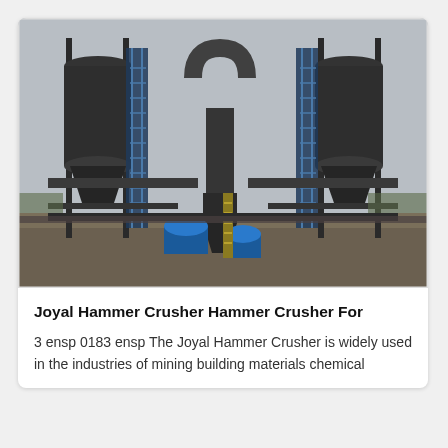[Figure (photo): Industrial photograph of large hammer crusher / grinding mill equipment at an outdoor facility. Shows two large dark cylindrical dust collector towers on the left and right, connected by pipes and structural steel frameworks. A central hopper and conveyor assembly with blue drum components is visible at ground level. The setting appears to be a mining or construction materials processing plant under an overcast grey sky.]
Joyal Hammer Crusher Hammer Crusher For
3 ensp 0183 ensp The Joyal Hammer Crusher is widely used in the industries of mining building materials chemical